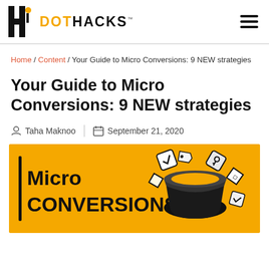DOTHACKS
Home / Content / Your Guide to Micro Conversions: 9 NEW strategies
Your Guide to Micro Conversions: 9 NEW strategies
Taha Maknoo | September 21, 2020
[Figure (illustration): Yellow banner image with bold black text 'Micro CONVERSIONS' on the left with a vertical yellow bar accent, and an illustrated funnel with floating icons (checkmarks, keys, diamonds) on the right, against a golden-yellow background.]